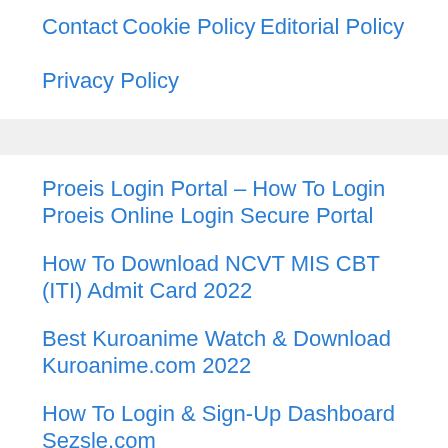Contact
Cookie Policy
Editorial Policy
Privacy Policy
Proeis Login Portal – How To Login Proeis Online Login Secure Portal
How To Download NCVT MIS CBT (ITI) Admit Card 2022
Best Kuroanime Watch & Download Kuroanime.com 2022
How To Login & Sign-Up Dashboard Sezsle.com
What is Uniicwan & The capacity of Uniicwan